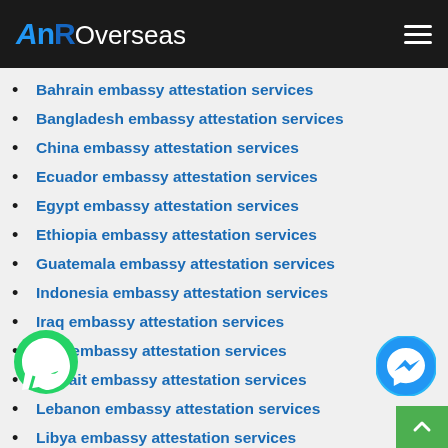[Figure (logo): AnROverseas logo on black header with hamburger menu icon]
Bahrain embassy attestation services
Bangladesh embassy attestation services
China embassy attestation services
Ecuador embassy attestation services
Egypt embassy attestation services
Ethiopia embassy attestation services
Guatemala embassy attestation services
Indonesia embassy attestation services
Iraq embassy attestation services
Italy embassy attestation services
Kuwait embassy attestation services
Lebanon embassy attestation services
Libya embassy attestation services